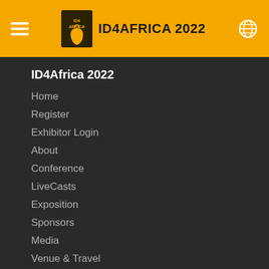ID4AFRICA 2022
ID4Africa 2022
Home
Register
Exhibitor Login
About
Conference
LiveCasts
Exposition
Sponsors
Media
Venue & Travel
Contact
Explore
ID4Africa Home
About
Governance